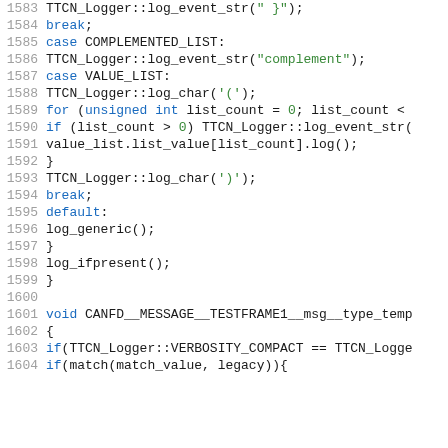[Figure (screenshot): Source code listing lines 1583-1604, C++ code with syntax highlighting. Line numbers in gray, keywords in blue, string literals in green, identifiers in dark/black.]